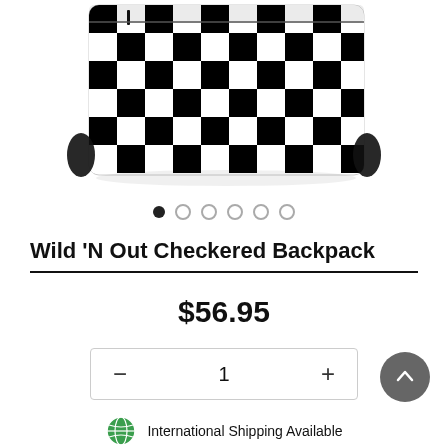[Figure (photo): Black and white checkered backpack product photo shown from the front, lying flat, with black straps visible on sides]
Wild 'N Out Checkered Backpack
$56.95
1
International Shipping Available